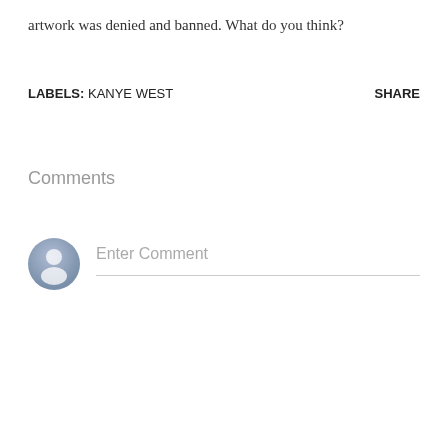artwork was denied and banned. What do you think?
LABELS: KANYE WEST    SHARE
Comments
[Figure (illustration): Generic user avatar icon — a circle with a silhouette of a person, blue-grey gradient]
Enter Comment